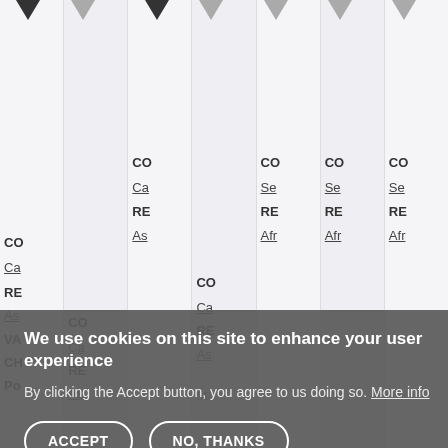[Figure (screenshot): Background of a website showing multiple columns with truncated navigation/menu items including CO, Ca, RE, As, VA, CH, Po, SE labels, with column drop-down arrows at top]
We use cookies on this site to enhance your user experience
By clicking the Accept button, you agree to us doing so. More info
ACCEPT
NO, THANKS